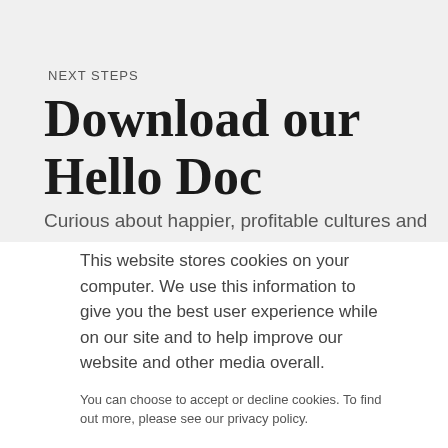NEXT STEPS
Download our Hello Doc
Curious about happier, profitable cultures and
This website stores cookies on your computer. We use this information to give you the best user experience while on our site and to help improve our website and other media overall.
You can choose to accept or decline cookies. To find out more, please see our privacy policy.